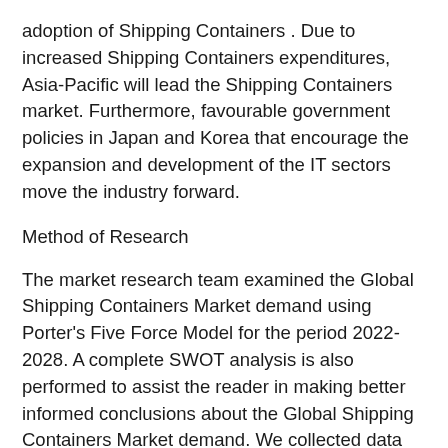adoption of Shipping Containers . Due to increased Shipping Containers expenditures, Asia-Pacific will lead the Shipping Containers market. Furthermore, favourable government policies in Japan and Korea that encourage the expansion and development of the IT sectors move the industry forward.
Method of Research
The market research team examined the Global Shipping Containers Market demand using Porter's Five Force Model for the period 2022-2028. A complete SWOT analysis is also performed to assist the reader in making better informed conclusions about the Global Shipping Containers Market demand. We collected data from both primary and secondary sources. In addition, the data analysts employed publicly available tools like as annual reports, SEC filings, and white papers to conduct a complete examination of the market. The report data analysis reflects the concerns of